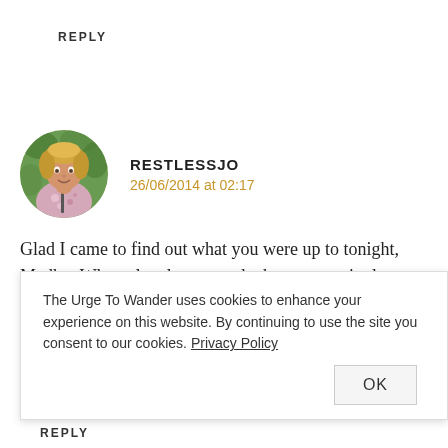REPLY
[Figure (photo): Circular avatar photo of an older woman with blonde hair wearing a floral shirt, against a green leafy background]
RESTLESSJO
26/06/2014 at 02:17
Glad I came to find out what you were up to tonight, Madhu. What a lovely post and what an amazingly romantic place to start your lives together. The scenery is incredible.
I wondered as I read if it was a mistake going back and
The Urge To Wander uses cookies to enhance your experience on this website. By continuing to use the site you consent to our cookies. Privacy Policy
OK
REPLY